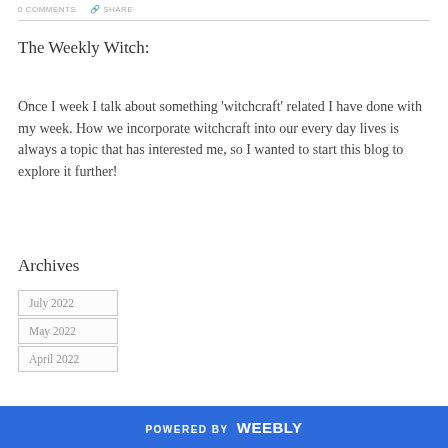0 COMMENTS   SHARE
The Weekly Witch:
Once I week I talk about something 'witchcraft' related I have done with my week. How we incorporate witchcraft into our every day lives is always a topic that has interested me, so I wanted to start this blog to explore it further!
Archives
July 2022
May 2022
April 2022
POWERED BY weebly